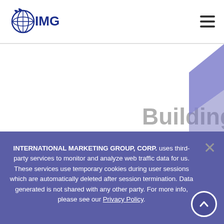[Figure (logo): IMG International Marketing Group Corp logo with globe graphic in blue]
[Figure (illustration): Purple decorative angular shape in top-right corner]
Building Financial P Proper P
INTERNATIONAL MARKETING GROUP, CORP. uses third-party services to monitor and analyze web traffic data for us. These services use temporary cookies during user sessions which are automatically deleted after session termination. Data generated is not shared with any other party. For more info, please see our Privacy Policy.